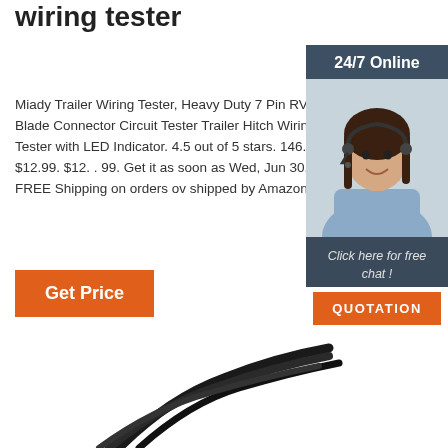wiring tester
Miady Trailer Wiring Tester, Heavy Duty 7 Pin RV Blade Connector Circuit Tester Trailer Hitch Wiring Tester with LED Indicator. 4.5 out of 5 stars. 146. $12.99. $12. . 99. Get it as soon as Wed, Jun 30. FREE Shipping on orders over shipped by Amazon.
[Figure (photo): Woman with headset smiling, representing a 24/7 online chat support widget with a 'Click here for free chat!' message and a QUOTATION button]
[Figure (photo): Black cables/wires shown at the bottom of the page]